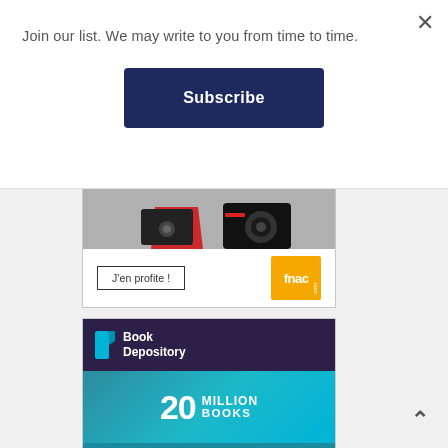Join our list. We may write to you from time to time.
Subscribe
[Figure (advertisement): Fnac advertisement with electronic devices (camera, tablet), a 'J'en profite !' button, and the Fnac.com logo]
[Figure (advertisement): Book Depository advertisement showing '20 MILLION BOOKS', 'FREE DELIVERY WORLDWIDE', and a 'Shop now' button with rocket icon]